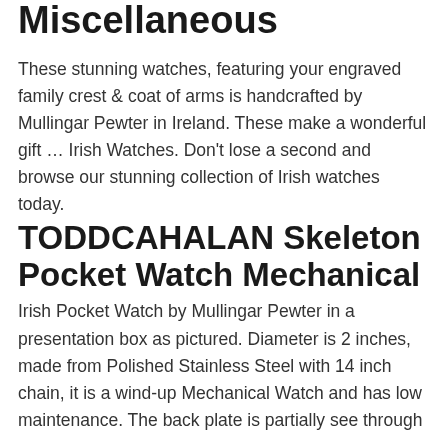Miscellaneous
These stunning watches, featuring your engraved family crest & coat of arms is handcrafted by Mullingar Pewter in Ireland. These make a wonderful gift … Irish Watches. Don't lose a second and browse our stunning collection of Irish watches today.
TODDCAHALAN Skeleton Pocket Watch Mechanical
Irish Pocket Watch by Mullingar Pewter in a presentation box as pictured. Diameter is 2 inches, made from Polished Stainless Steel with 14 inch chain, it is a wind-up Mechanical Watch and has low maintenance. The back plate is partially see through